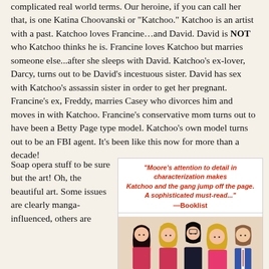complicated real world terms. Our heroine, if you can call her that, is one Katina Choovanski or "Katchoo." Katchoo is an artist with a past. Katchoo loves Francine…and David. David is NOT who Katchoo thinks he is. Francine loves Katchoo but marries someone else...after she sleeps with David. Katchoo's ex-lover, Darcy, turns out to be David's incestuous sister. David has sex with Katchoo's assassin sister in order to get her pregnant. Francine's ex, Freddy, marries Casey who divorces him and moves in with Katchoo. Francine's conservative mom turns out to have been a Betty Page type model. Katchoo's own model turns out to be an FBI agent. It's been like this now for more than a decade!
Soap opera stuff to be sure but the art! Oh, the beautiful art. Some issues are clearly manga-influenced, others are
[Figure (illustration): Quote box and comic book cover illustration showing four cartoon characters: a dark-haired woman, a blonde woman, a dark-haired man with glasses, another blonde woman, and a man in a suit. Quote reads: "Moore's attention to detail in characterization makes Katchoo and the gang jump off the page. A sophisticated must-read..." —Booklist]